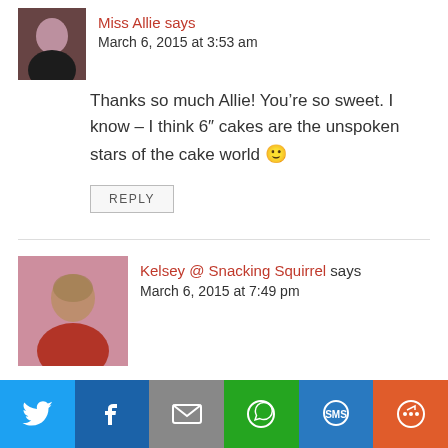[Figure (photo): Small avatar photo of a person in dark clothing, cropped at top]
March 6, 2015 at 3:53 am
Thanks so much Allie! You’re so sweet. I know – I think 6″ cakes are the unspoken stars of the cake world 🙂
REPLY
[Figure (photo): Avatar photo of Kelsey, woman with hair up, wearing red top]
Kelsey @ Snacking Squirrel says
March 6, 2015 at 7:49 pm
how perfect for st. patrick’s day! what a clever and crafty looking cake!
[Figure (infographic): Social sharing bar with Twitter, Facebook, Email, WhatsApp, SMS, and More buttons]